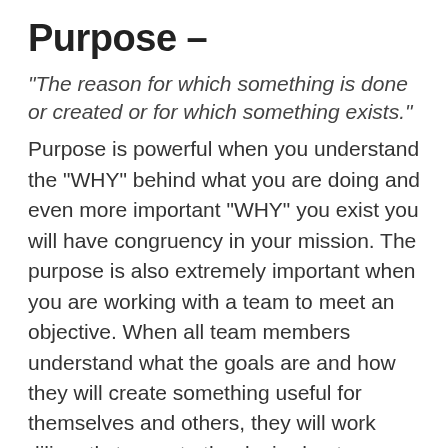Purpose –
“The reason for which something is done or created or for which something exists.” Purpose is powerful when you understand the “WHY” behind what you are doing and even more important “WHY” you exist you will have congruency in your mission. The purpose is also extremely important when you are working with a team to meet an objective. When all team members understand what the goals are and how they will create something useful for themselves and others, they will work diligently to create the desired outcome